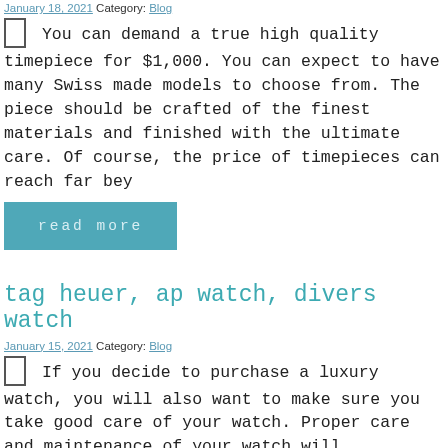January 18, 2021 Category: Blog
You can demand a true high quality timepiece for $1,000. You can expect to have many Swiss made models to choose from. The piece should be crafted of the finest materials and finished with the ultimate care. Of course, the price of timepieces can reach far bey
read more
tag heuer, ap watch, divers watch
January 15, 2021 Category: Blog
If you decide to purchase a luxury watch, you will also want to make sure you take good care of your watch. Proper care and maintenance of your watch will